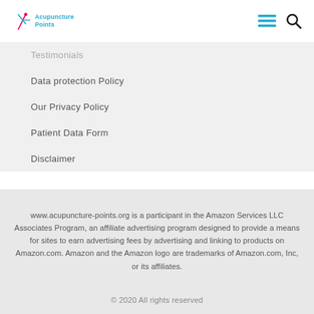Acupuncture Points
Testimonials
Data protection Policy
Our Privacy Policy
Patient Data Form
Disclaimer
www.acupuncture-points.org is a participant in the Amazon Services LLC Associates Program, an affiliate advertising program designed to provide a means for sites to earn advertising fees by advertising and linking to products on Amazon.com. Amazon and the Amazon logo are trademarks of Amazon.com, Inc, or its affiliates.
© 2020 All rights reserved